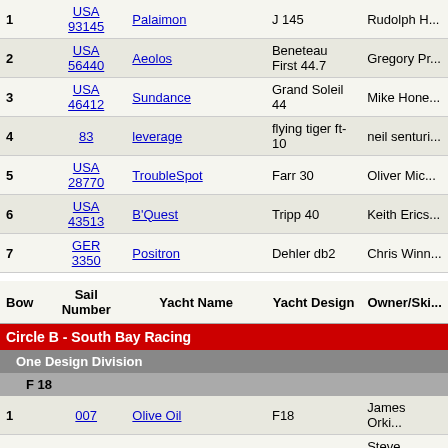| Bow | Sail Number | Yacht Name | Yacht Design | Owner/Skipper |
| --- | --- | --- | --- | --- |
| 1 | USA 93145 | Palaimon | J 145 | Rudolph H... |
| 2 | USA 56440 | Aeolos | Beneteau First 44.7 | Gregory Pr... |
| 3 | USA 46412 | Sundance | Grand Soleil 44 | Mike Hone... |
| 4 | 83 | leverage | flying tiger ft-10 | neil senturi... |
| 5 | USA 28770 | TroubleSpot | Farr 30 | Oliver Mic... |
| 6 | USA 43513 | B'Quest | Tripp 40 | Keith Erics... |
| 7 | GER 3350 | Positron | Dehler db2 | Chris Winn... |
Circle B - South Bay Racing
One Design Division
F 18
| Bow | Sail Number | Yacht Name | Yacht Design | Owner/Skipper |
| --- | --- | --- | --- | --- |
| 1 | 007 | Olive Oil | F18 | James Orki... |
| 2 | USA 44 | Wet Rodeo | F18 | Steve Stroe... |
| 3 | USA 010 | Devo | F18 | Jeff Newso... |
| 4 | USA 1958 | Casi Listo | F18 | Scott Mille... |
| 5 | USA 288 | Atla | F18 | Brennon B... |
| 6 | USA 031 | pedromachine | F18 | Peter Curra... |
J 14 (West Coast Championship)